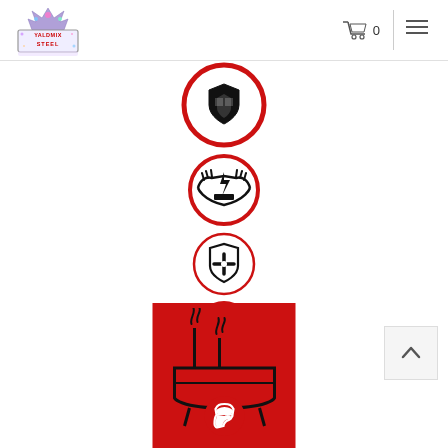[Figure (logo): Yaldmix Steel logo with crown icon and stylized text]
[Figure (infographic): Shopping cart icon with 0 badge]
[Figure (infographic): Hamburger menu icon]
[Figure (infographic): Column of four circular icons: armor/protection, hands holding item, shield with cross, thermometer - all with red circle borders]
[Figure (infographic): Red background contact box with industrial/factory icon and phone icon]
[Figure (infographic): Scroll to top button with upward chevron]